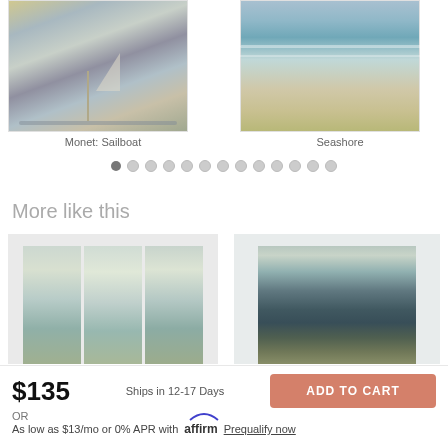[Figure (illustration): Monet Sailboat painting thumbnail - impressionist painting of sailboat on water at dusk]
Monet: Sailboat
[Figure (illustration): Seashore painting thumbnail - ocean waves with cloudy sky]
Seashore
[Figure (other): Carousel pagination dots, 13 total, first one filled/active]
More like this
[Figure (illustration): Triptych seascape painting - three panel canvas art with ocean scene]
[Figure (illustration): Abstract seascape painting - layered horizontal bands of teal and earth tones]
$135
Ships in 12-17 Days
ADD TO CART
OR
As low as $13/mo or 0% APR with affirm Prequalify now